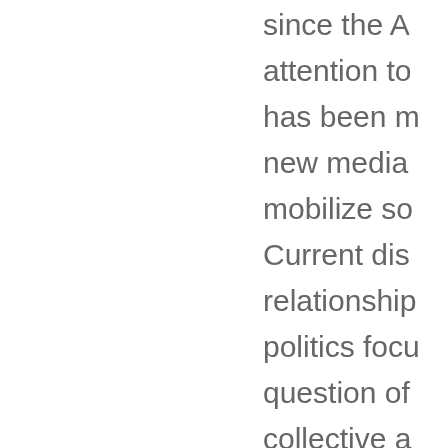since the A attention to has been m new media mobilize so Current dis relationship politics focu question of collective a concerns h mobile, soc capabilities and "amplif scaling up c into collecti presences- they can un establishes